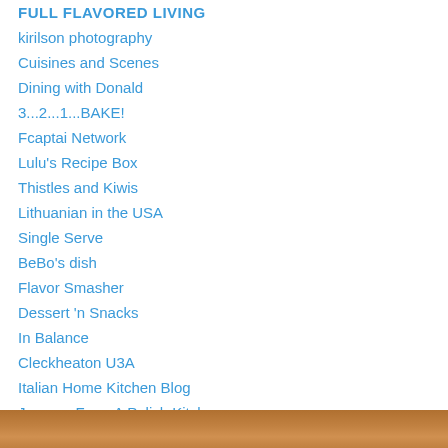FULL FLAVORED LIVING
kirilson photography
Cuisines and Scenes
Dining with Donald
3...2...1...BAKE!
Fcaptai Network
Lulu's Recipe Box
Thistles and Kiwis
Lithuanian in the USA
Single Serve
BeBo's dish
Flavor Smasher
Dessert 'n Snacks
In Balance
Cleckheaton U3A
Italian Home Kitchen Blog
Journey From A Polish Kitchen
ourlittlehouseinfrance
[Figure (photo): Bottom strip showing food photography in warm orange/brown tones]